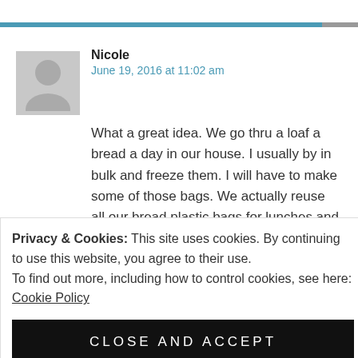Nicole
June 19, 2016 at 11:02 am
What a great idea. We go thru a loaf a bread a day in our house. I usually by in bulk and freeze them. I will have to make some of those bags. We actually reuse all our bread plastic bags for lunches and for storing and
Privacy & Cookies: This site uses cookies. By continuing to use this website, you agree to their use.
To find out more, including how to control cookies, see here: Cookie Policy
CLOSE AND ACCEPT